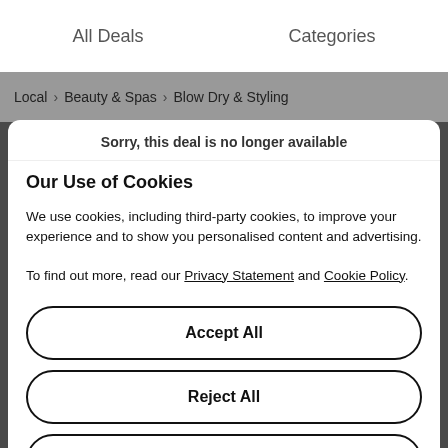All Deals   Categories
Local > Beauty & Spas > Blow Dry & Styling
Sorry, this deal is no longer available
Our Use of Cookies
We use cookies, including third-party cookies, to improve your experience and to show you personalised content and advertising.
To find out more, read our Privacy Statement and Cookie Policy.
Accept All
Reject All
My Options